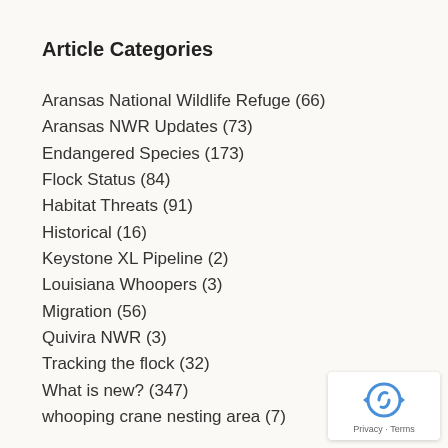Article Categories
Aransas National Wildlife Refuge (66)
Aransas NWR Updates (73)
Endangered Species (173)
Flock Status (84)
Habitat Threats (91)
Historical (16)
Keystone XL Pipeline (2)
Louisiana Whoopers (3)
Migration (56)
Quivira NWR (3)
Tracking the flock (32)
What is new? (347)
whooping crane nesting area (7)